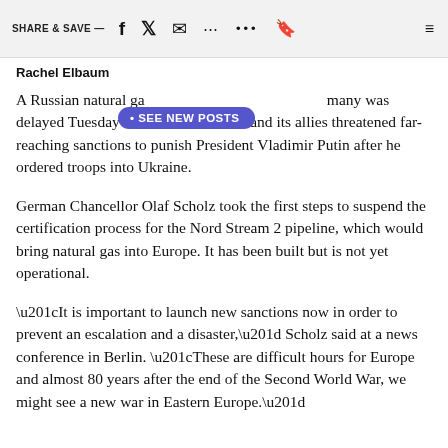SHARE & SAVE —
Rachel Elbaum
A Russian natural gas pipeline from Russia to Germany was delayed Tuesday as the United States and its allies threatened far-reaching sanctions to punish President Vladimir Putin after he ordered troops into Ukraine.
German Chancellor Olaf Scholz took the first steps to suspend the certification process for the Nord Stream 2 pipeline, which would bring natural gas into Europe. It has been built but is not yet operational.
“It is important to launch new sanctions now in order to prevent an escalation and a disaster,” Scholz said at a news conference in Berlin. “These are difficult hours for Europe and almost 80 years after the end of the Second World War, we might see a new war in Eastern Europe.”